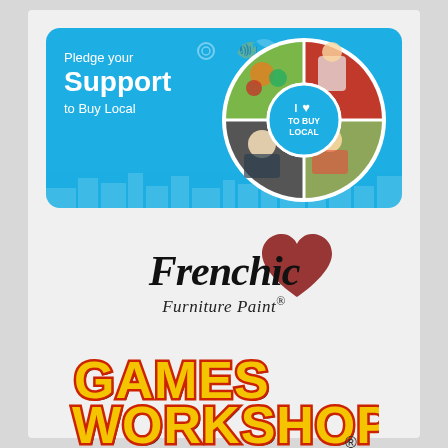[Figure (infographic): Buy Local campaign banner with blue background, 'Pledge your Support to Buy Local' text on left, circular photo collage on right showing local businesses (produce, chef, construction worker, baker, florist), and 'I Love TO BUY LOCAL' badge in center of circle.]
[Figure (logo): Frenchic Furniture Paint logo: 'Frenchic' in large black italic handwritten-style font with a red painted heart overlapping the top right, 'Furniture Paint' in smaller italic serif font below, with registered trademark symbol.]
[Figure (logo): Games Workshop logo: bold stylized text 'GAMES WORKSHOP' in yellow with red outline and black shadow, registered trademark symbol to the right.]